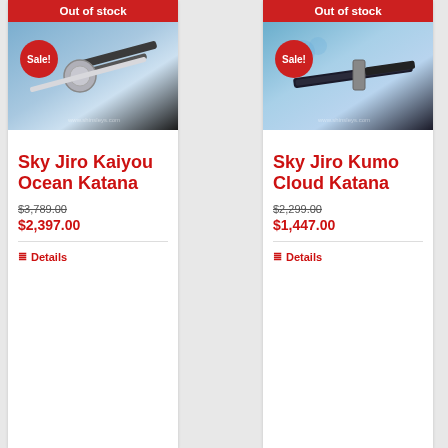Out of stock
[Figure (photo): Close-up of Sky Jiro Kaiyou Ocean Katana sword guard with ornate metalwork, Sale! badge overlay]
Sky Jiro Kaiyou Ocean Katana
$3,789.00
$2,397.00
Details
Out of stock
[Figure (photo): Close-up of Sky Jiro Kumo Cloud Katana with blue decorative scabbard, Sale! badge overlay]
Sky Jiro Kumo Cloud Katana
$2,299.00
$1,447.00
Details